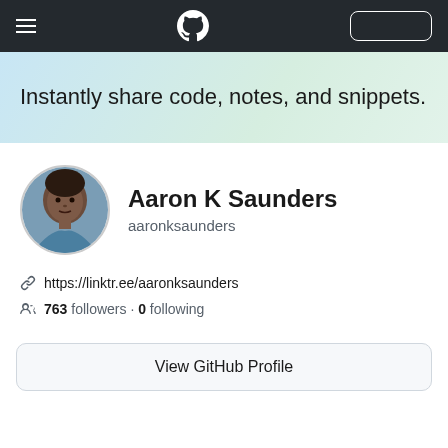GitHub navigation bar with hamburger menu, GitHub logo, and sign-in button
Instantly share code, notes, and snippets.
[Figure (photo): Circular profile photo of Aaron K Saunders, a man with a shaved head wearing a blue shirt]
Aaron K Saunders
aaronksaunders
https://linktr.ee/aaronksaunders
763 followers · 0 following
View GitHub Profile